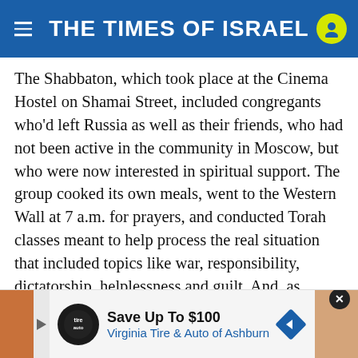THE TIMES OF ISRAEL
The Shabbaton, which took place at the Cinema Hostel on Shamai Street, included congregants who'd left Russia as well as their friends, who had not been active in the community in Moscow, but who were now interested in spiritual support. The group cooked its own meals, went to the Western Wall at 7 a.m. for prayers, and conducted Torah classes meant to help process the real situation that included topics like war, responsibility, dictatorship, helplessness and guilt. And, as Gordon tells it, the Shabbaton ended with an impromptu happening that he experienced as a deeply affirming spiritual event.
[Figure (infographic): Advertisement banner: Save Up To $100 Virginia Tire & Auto of Ashburn]